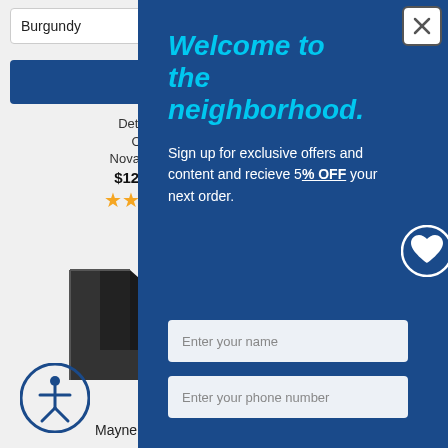Burgundy
[Figure (screenshot): Product listing showing detachable open product by Nova Medical priced at $129.95 with 4.5 star rating and a black bracket/corner piece product image]
Detachable Open
Nova Medical
$129.95
★★★★☆
Mayne Na
Welcome to the neighborhood.
Sign up for exclusive offers and content and recieve 5% OFF your next order.
Enter your name
Enter your phone number